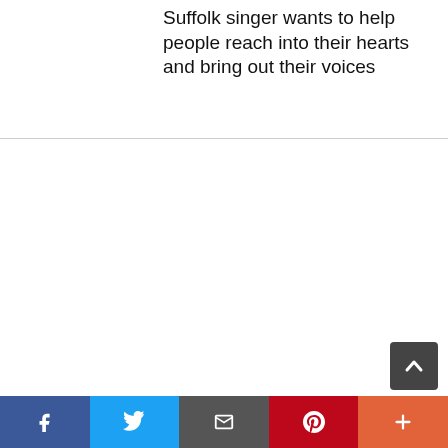Suffolk singer wants to help people reach into their hearts and bring out their voices
[Figure (other): Scroll-to-top button (dark grey rounded square with upward chevron arrow)]
Social sharing bar with Facebook, Twitter, Email, Pinterest, and More buttons